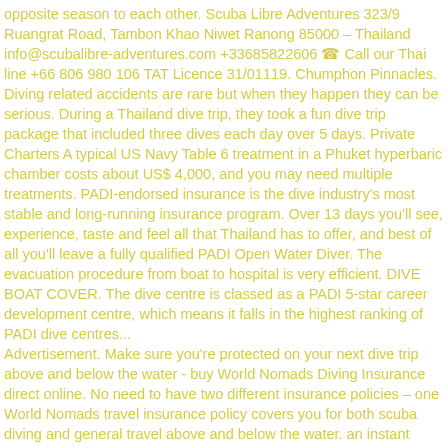opposite season to each other. Scuba Libre Adventures 323/9 Ruangrat Road, Tambon Khao Niwet Ranong 85000 – Thailand info@scubalibre-adventures.com +33685822606 ☎ Call our Thai line +66 806 980 106 TAT Licence 31/01119. Chumphon Pinnacles. Diving related accidents are rare but when they happen they can be serious. During a Thailand dive trip, they took a fun dive trip package that included three dives each day over 5 days. Private Charters A typical US Navy Table 6 treatment in a Phuket hyperbaric chamber costs about US$ 4,000, and you may need multiple treatments. PADI-endorsed insurance is the dive industry's most stable and long-running insurance program. Over 13 days you'll see, experience, taste and feel all that Thailand has to offer, and best of all you'll leave a fully qualified PADI Open Water Diver. The evacuation procedure from boat to hospital is very efficient. DIVE BOAT COVER. The dive centre is classed as a PADI 5-star career development centre, which means it falls in the highest ranking of PADI dive centres... Advertisement. Make sure you're protected on your next dive trip above and below the water - buy World Nomads Diving Insurance direct online. No need to have two different insurance policies – one World Nomads travel insurance policy covers you for both scuba diving and general travel above and below the water. an instant quote for diving insurance with World Nomads. La plongée sous-marine en Thaïlande – Pimp My Dive – Koh Tao; INFORMATIONS PRATIQUES. Closer to Bangkok,